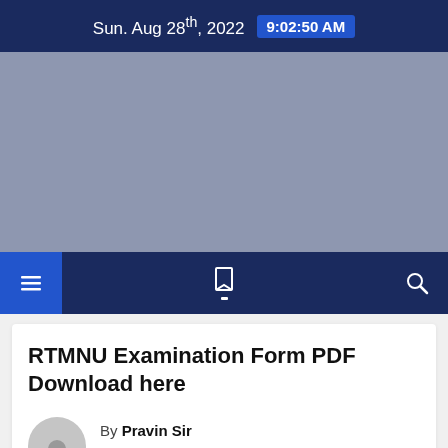Sun. Aug 28th, 2022  9:02:50 AM
[Figure (other): Gray advertisement banner placeholder]
[Figure (other): Navigation bar with hamburger icon, bookmark icon with underline dot, and search icon]
RTMNU Examination Form PDF Download here
By Pravin Sir
 MAY 7, 2021